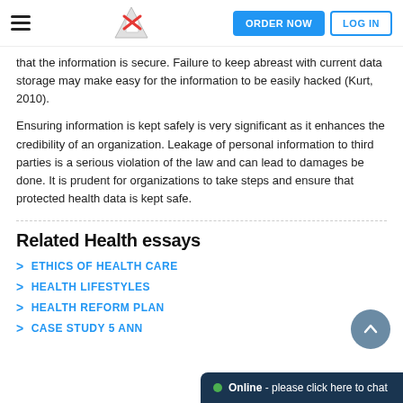ORDER NOW | LOG IN
that the information is secure. Failure to keep abreast with current data storage may make easy for the information to be easily hacked (Kurt, 2010).
Ensuring information is kept safely is very significant as it enhances the credibility of an organization. Leakage of personal information to third parties is a serious violation of the law and can lead to damages be done. It is prudent for organizations to take steps and ensure that protected health data is kept safe.
Related Health essays
ETHICS OF HEALTH CARE
HEALTH LIFESTYLES
HEALTH REFORM PLAN
CASE STUDY 5 ANN